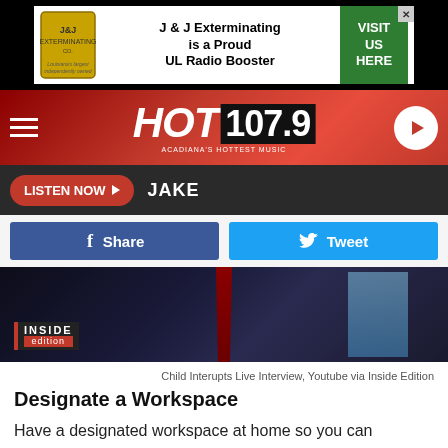[Figure (other): J & J Exterminating Co. advertisement banner — J&J Exterminating is a Proud UL Radio Booster with Visit Us Here green CTA button]
[Figure (logo): HOT 107.9 Acadiana's Hottest Music radio station logo on red gradient nav bar with hamburger menu and play button]
[Figure (other): Listen Now button with JAKE DJ name on dark background bar]
[Figure (other): Facebook Share and Twitter Tweet social sharing buttons]
[Figure (photo): Video thumbnail showing a person in dark suit with red tie, Inside Edition logo badge in bottom left corner]
Child Interupts Live Interview, Youtube via Inside Edition
Designate a Workspace
Have a designated workspace at home so you can separate your work life from your  home life. Set boundaries during work time and if your spouse is available, don't be afraid to ask them for help with the kids.